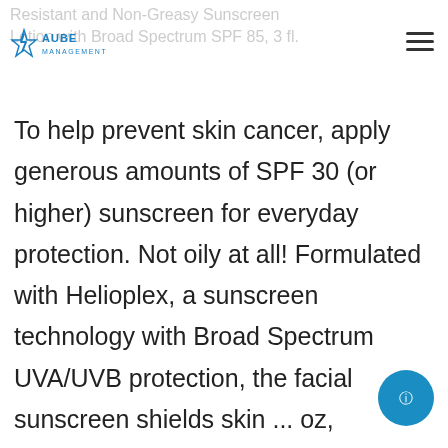Resistant and Non-Greasy Sunscreen Lotion with Broad Spectrum SPF 85, 3 fl.
[Figure (logo): Aube Management logo — blue lightning bolt star with 'AUBE MANAGEMENT' text in blue]
To help prevent skin cancer, apply generous amounts of SPF 30 (or higher) sunscreen for everyday protection. Not oily at all! Formulated with Helioplex, a sunscreen technology with Broad Spectrum UVA/UVB protection, the facial sunscreen shields skin ... oz, Neutrogena Beach Defense Spray Sunscreen with Broad Spectrum UVA/UVB SPF 70, Fast Absorbing Sunscreen Spray, Water-Resistant and Oil-Free Sun Protection, S 70, 6.5 oz, Neutrogena Ultra Sheer Dry-Touch Sunscreen Lotion, Broad Spectrum